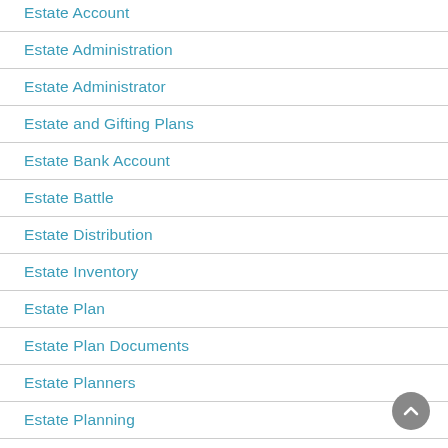Estate Account
Estate Administration
Estate Administrator
Estate and Gifting Plans
Estate Bank Account
Estate Battle
Estate Distribution
Estate Inventory
Estate Plan
Estate Plan Documents
Estate Planners
Estate Planning
Estate Planning Attorney